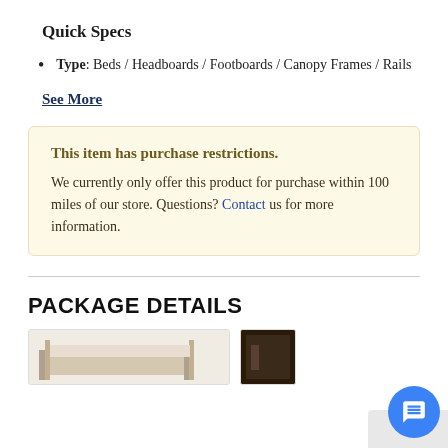Quick Specs
Type: Beds / Headboards / Footboards / Canopy Frames / Rails
See More
This item has purchase restrictions.
We currently only offer this product for purchase within 100 miles of our store. Questions? Contact us for more information.
PACKAGE DETAILS
[Figure (photo): Product image showing a bed frame, partially visible at the bottom of the page]